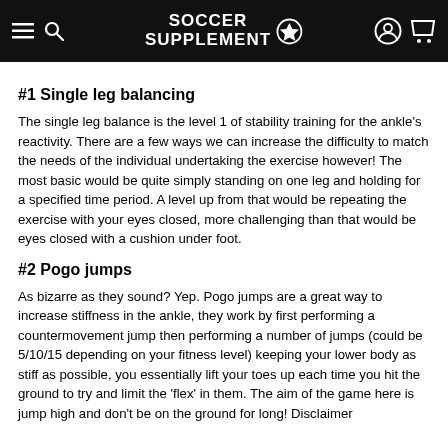SOCCER SUPPLEMENT
#1 Single leg balancing
The single leg balance is the level 1 of stability training for the ankle's reactivity. There are a few ways we can increase the difficulty to match the needs of the individual undertaking the exercise however! The most basic would be quite simply standing on one leg and holding for a specified time period. A level up from that would be repeating the exercise with your eyes closed, more challenging than that would be eyes closed with a cushion under foot.
#2 Pogo jumps
As bizarre as they sound? Yep. Pogo jumps are a great way to increase stiffness in the ankle, they work by first performing a countermovement jump then performing a number of jumps (could be 5/10/15 depending on your fitness level) keeping your lower body as stiff as possible, you essentially lift your toes up each time you hit the ground to try and limit the 'flex' in them. The aim of the game here is jump high and don't be on the ground for long! Disclaimer